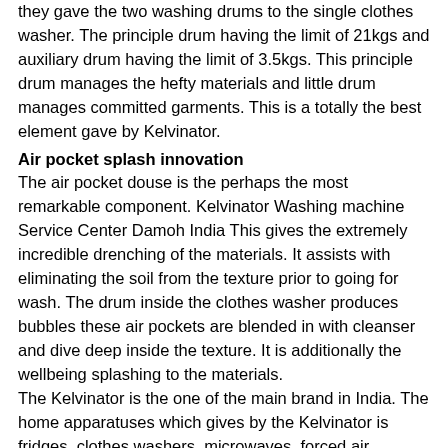they gave the two washing drums to the single clothes washer. The principle drum having the limit of 21kgs and auxiliary drum having the limit of 3.5kgs. This principle drum manages the hefty materials and little drum manages committed garments. This is a totally the best element gave by Kelvinator.
Air pocket splash innovation
The air pocket douse is the perhaps the most remarkable component. Kelvinator Washing machine Service Center Damoh India This gives the extremely incredible drenching of the materials. It assists with eliminating the soil from the texture prior to going for wash. The drum inside the clothes washer produces bubbles these air pockets are blended in with cleanser and dive deep inside the texture. It is additionally the wellbeing splashing to the materials.
The Kelvinator is the one of the main brand in India. The home apparatuses which gives by the Kelvinator is fridges, clothes washers, microwaves, forced air systems, and TV's. We have the much use with these items. These home apparatuses are turned into the one of the piece of our day by day life. The different items